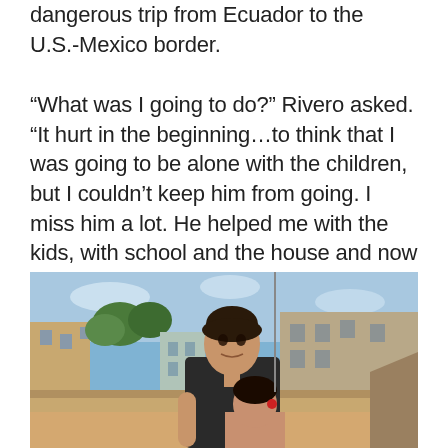dangerous trip from Ecuador to the U.S.-Mexico border.
“What was I going to do?” Rivero asked. “It hurt in the beginning…to think that I was going to be alone with the children, but I couldn’t keep him from going. I miss him a lot. He helped me with the kids, with school and the house and now I am alone.”
[Figure (photo): A woman with dark hair pulled back, wearing a black tank top, stands outdoors on a rooftop with a young girl with dark hair in a ponytail. Behind them is a cityscape with older colorful buildings and a blue sky.]